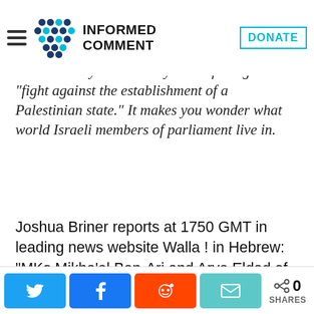Informed Comment [logo with hamburger menu and DONATE button]
members of parliament (Knesset) who burned a Palestinian flag and condemned the “subservience of the government of Prime Minister Binyamin Netanyahu in failing to “fight against the establishment of a Palestinian state.” It makes you wonder what world Israeli members of parliament live in.
Joshua Briner reports at 1750 GMT in leading news website Walla ! in Hebrew: “MKs Mikha’el Ben-Ari and Arye Eldad of the Strong Israel party burned Palestinian flags this evening in protest over the
0 SHARES [Twitter, Facebook, Reddit, Email share buttons]